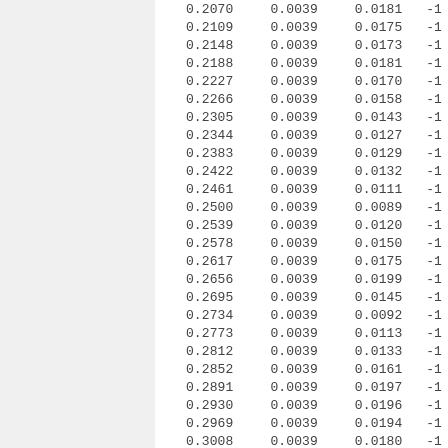| 0.2070 | 0.0039 | 0.0181 | -1 |
| 0.2109 | 0.0039 | 0.0175 | -1 |
| 0.2148 | 0.0039 | 0.0173 | -1 |
| 0.2188 | 0.0039 | 0.0181 | -1 |
| 0.2227 | 0.0039 | 0.0170 | -1 |
| 0.2266 | 0.0039 | 0.0158 | -1 |
| 0.2305 | 0.0039 | 0.0143 | -1 |
| 0.2344 | 0.0039 | 0.0127 | -1 |
| 0.2383 | 0.0039 | 0.0129 | -1 |
| 0.2422 | 0.0039 | 0.0132 | -1 |
| 0.2461 | 0.0039 | 0.0111 | -1 |
| 0.2500 | 0.0039 | 0.0089 | -1 |
| 0.2539 | 0.0039 | 0.0120 | -1 |
| 0.2578 | 0.0039 | 0.0150 | -1 |
| 0.2617 | 0.0039 | 0.0175 | -1 |
| 0.2656 | 0.0039 | 0.0199 | -1 |
| 0.2695 | 0.0039 | 0.0145 | -1 |
| 0.2734 | 0.0039 | 0.0092 | -1 |
| 0.2773 | 0.0039 | 0.0113 | -1 |
| 0.2812 | 0.0039 | 0.0133 | -1 |
| 0.2852 | 0.0039 | 0.0161 | -1 |
| 0.2891 | 0.0039 | 0.0197 | -1 |
| 0.2930 | 0.0039 | 0.0196 | -1 |
| 0.2969 | 0.0039 | 0.0194 | -1 |
| 0.3008 | 0.0039 | 0.0180 | -1 |